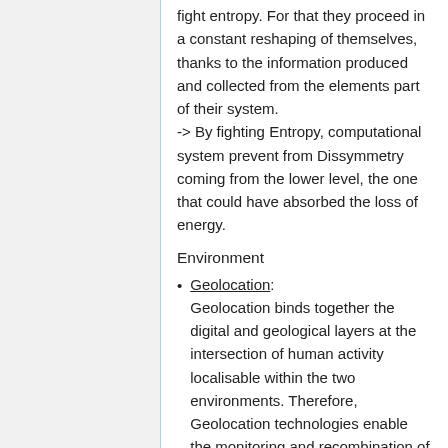fight entropy. For that they proceed in a constant reshaping of themselves, thanks to the information produced and collected from the elements part of their system.
-> By fighting Entropy, computational system prevent from Dissymmetry coming from the lower level, the one that could have absorbed the loss of energy.
Environment
Geolocation: Geolocation binds together the digital and geological layers at the intersection of human activity localisable within the two environments. Therefore, Geolocation technologies enable the monitoring and recombination of